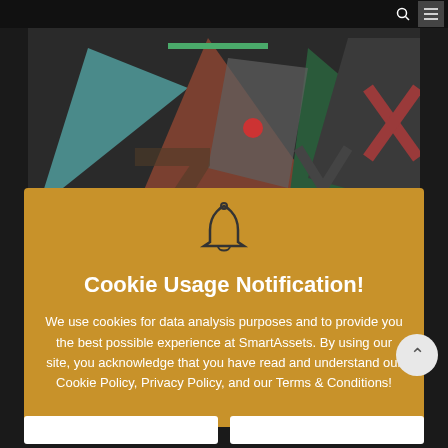Navigation bar with search and menu icons
[Figure (illustration): Abstract colorful geometric art image with triangles and shapes in teal, brown, green, and dark colors]
Detroit's Revival Is Anchored in Its Train Stati...
Cookie Usage Notification!
We use cookies for data analysis purposes and to provide you the best possible experience at SmartAssets. By using our site, you acknowledge that you have read and understand our Cookie Policy, Privacy Policy, and our Terms & Conditions!